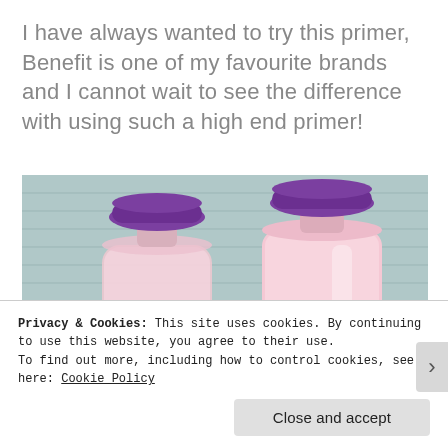I have always wanted to try this primer, Benefit is one of my favourite brands and I cannot wait to see the difference with using such a high end primer!
[Figure (photo): Two Bath & Body Works French Lavender & Honey bottles with purple caps — one clear/glass bottle and one opaque pink lotion bottle — on a light blue wooden surface.]
Privacy & Cookies: This site uses cookies. By continuing to use this website, you agree to their use.
To find out more, including how to control cookies, see here: Cookie Policy
Close and accept